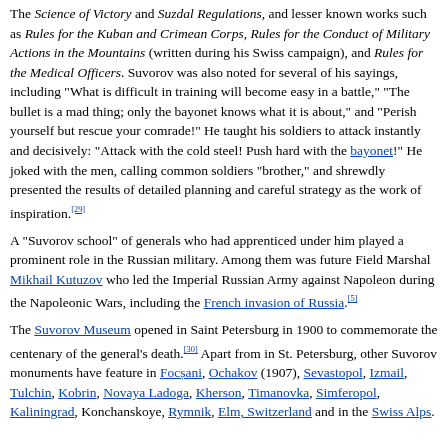The Science of Victory and Suzdal Regulations, and lesser known works such as Rules for the Kuban and Crimean Corps, Rules for the Conduct of Military Actions in the Mountains (written during his Swiss campaign), and Rules for the Medical Officers. Suvorov was also noted for several of his sayings, including "What is difficult in training will become easy in a battle," "The bullet is a mad thing; only the bayonet knows what it is about," and "Perish yourself but rescue your comrade!" He taught his soldiers to attack instantly and decisively: "Attack with the cold steel! Push hard with the bayonet!" He joked with the men, calling common soldiers "brother," and shrewdly presented the results of detailed planning and careful strategy as the work of inspiration.[29]
A "Suvorov school" of generals who had apprenticed under him played a prominent role in the Russian military. Among them was future Field Marshal Mikhail Kutuzov who led the Imperial Russian Army against Napoleon during the Napoleonic Wars, including the French invasion of Russia.[5]
The Suvorov Museum opened in Saint Petersburg in 1900 to commemorate the centenary of the general's death.[30] Apart from in St. Petersburg, other Suvorov monuments have feature in Focșani, Ochakov (1907), Sevastopol, Izmail, Tulchin, Kobrin, Novaya Ladoga, Kherson, Timanovka, Simferopol, Kaliningrad, Konchanskoye, Rymnik, Elm, Switzerland and in the Swiss Alps.